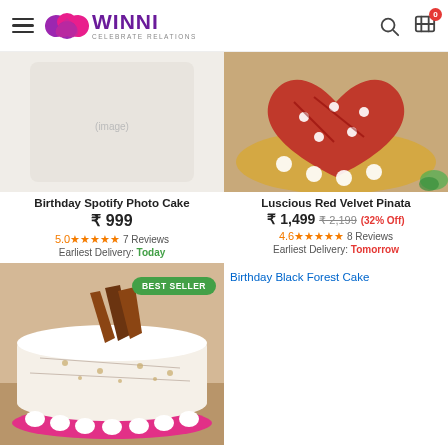WINNI - CELEBRATE RELATIONS
[Figure (photo): Red velvet pinata cake viewed from above, showing red heart-shaped cake with white pearl decorations on a gold board]
Birthday Spotify Photo Cake
₹ 999
5.0★★★★★ 7 Reviews
Earliest Delivery: Today
Luscious Red Velvet Pinata
₹ 1,499 ₹ 2,199 (32% Off)
4.6★★★★★ 8 Reviews
Earliest Delivery: Tomorrow
[Figure (photo): White cream cake with chocolate shards on top and pink base - Birthday Black Forest Cake]
Birthday Black Forest Cake (broken image link shown)